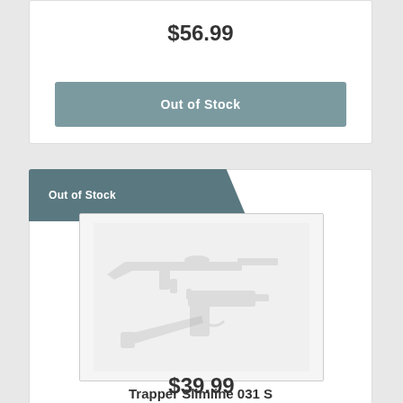$56.99
Out of Stock
Out of Stock
[Figure (illustration): Placeholder product image showing faded silhouettes of a rifle, handgun, and knife on a light gray background]
Trapper Slimline 031 S
Case
$39.99